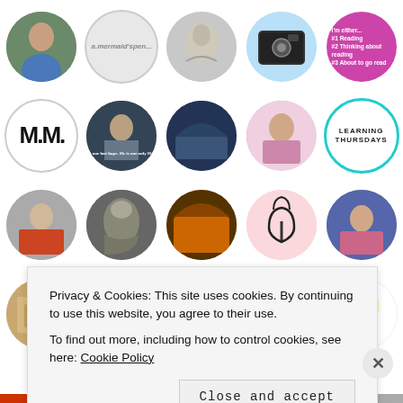[Figure (other): Grid of 20 circular avatar/profile images arranged in 4 rows and 5 columns. Includes photos of people, artwork, logos (MM, a.mermaid's pen, UNITBALL, Learning Thursdays), illustrated drawings, and decorative images.]
Privacy & Cookies: This site uses cookies. By continuing to use this website, you agree to their use.
To find out more, including how to control cookies, see here: Cookie Policy
Close and accept